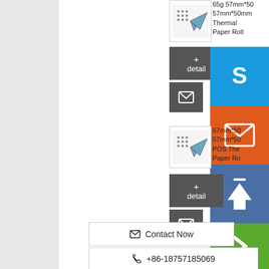[Figure (photo): Product image for 65g 57mm*50mm Thermal Paper Roll with two icons]
65g 57mm*50mm 57mm*50mm Thermal Paper Roll
[Figure (other): Dark grey button with + detail label]
[Figure (other): Dark grey button with envelope icon for email]
[Figure (other): Skype button in blue with S icon]
[Figure (other): Email button in orange with envelope icon]
[Figure (other): Upload/back-to-top button in dark blue with up arrow]
[Figure (other): Arrow next button in green]
[Figure (photo): Product image for 57mm*50mm POS Thermal Paper Roll with two icons]
57mm*50mm 57mm*50mm POS Thermal Paper Roll
[Figure (other): Dark grey button with + detail label]
[Figure (other): Dark grey button with envelope icon for email]
✉ Contact Now
☎ +86-18757185069